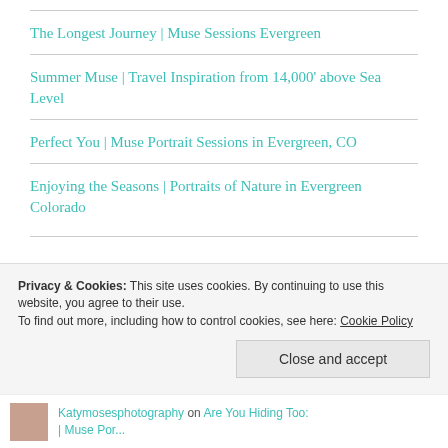The Longest Journey | Muse Sessions Evergreen
Summer Muse | Travel Inspiration from 14,000' above Sea Level
Perfect You | Muse Portrait Sessions in Evergreen, CO
Enjoying the Seasons | Portraits of Nature in Evergreen Colorado
Privacy & Cookies: This site uses cookies. By continuing to use this website, you agree to their use. To find out more, including how to control cookies, see here: Cookie Policy
Close and accept
Katymosesphotography on Are You Hiding Too: | Muse Por...